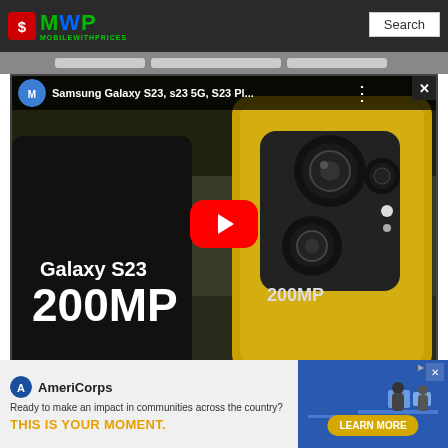[Figure (screenshot): MobileWithPrices website header with logo (MVP) and Search box]
[Figure (screenshot): YouTube video embed showing Samsung Galaxy S23 200MP promo thumbnail with play button. Title: Samsung Galaxy S23, s23 5G, S23 Pl...]
| GPS | Yes, with A-GPS, GLONASS |
| B | 2.0 MicroUSB, USB On-The-Go |
[Figure (screenshot): AmeriCorps advertisement banner: Ready to make an impact in communities across the country? THIS IS YOUR MOMENT. LEARN MORE]